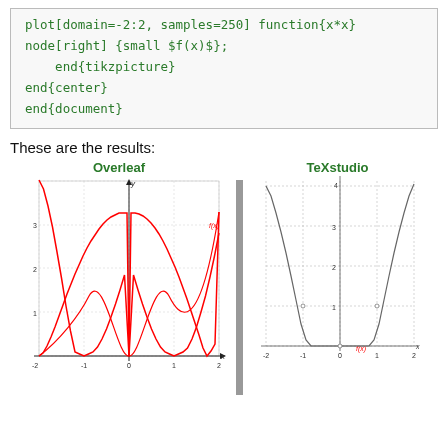plot[domain=-2:2, samples=250] function{x*x}
node[right] {small $f(x)$};
    end{tikzpicture}
end{center}
end{document}
These are the results:
[Figure (continuous-plot): Overleaf rendered parabola f(x)=x^2, x from -2 to 2, y from 0 to 4, red curve, axes labeled, gridlines shown]
[Figure (continuous-plot): TeXstudio rendered parabola f(x)=x^2, x from -2 to 2, y from 0 to 4, dotted gridlines, f(x) label in red, axes labeled]